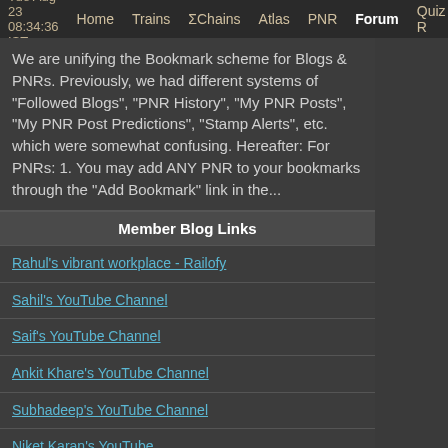Tue Aug 23 08:34:36 IST  Home  Trains  ΣChains  Atlas  PNR  Forum  Quiz R
We are unifying the Bookmark scheme for Blogs & PNRs. Previously, we had different systems of "Followed Blogs", "PNR History", "My PNR Posts", "My PNR Post Predictions", "Stamp Alerts", etc. which were somewhat confusing. Hereafter: For PNRs: 1. You may add ANY PNR to your bookmarks through the "Add Bookmark" link in the...
Member Blog Links
Rahul's vibrant workplace - Railofy
Sahil's YouTube Channel
Saif's YouTube Channel
Ankit Khare's YouTube Channel
Subhadeep's YouTube Channel
Niket Karan's YouTube